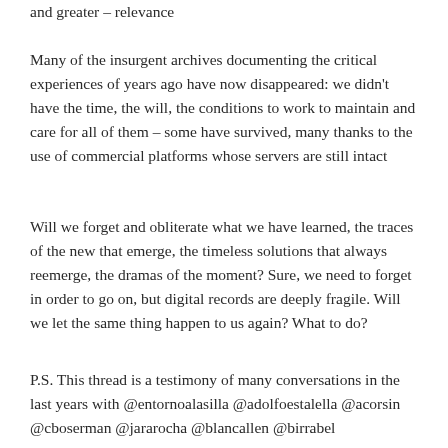and greater – relevance
Many of the insurgent archives documenting the critical experiences of years ago have now disappeared: we didn't have the time, the will, the conditions to work to maintain and care for all of them – some have survived, many thanks to the use of commercial platforms whose servers are still intact
Will we forget and obliterate what we have learned, the traces of the new that emerge, the timeless solutions that always reemerge, the dramas of the moment? Sure, we need to forget in order to go on, but digital records are deeply fragile. Will we let the same thing happen to us again? What to do?
P.S. This thread is a testimony of many conversations in the last years with @entornoalasilla @adolfoestalella @acorsin @cboserman @jararocha @blancallen @birrabel